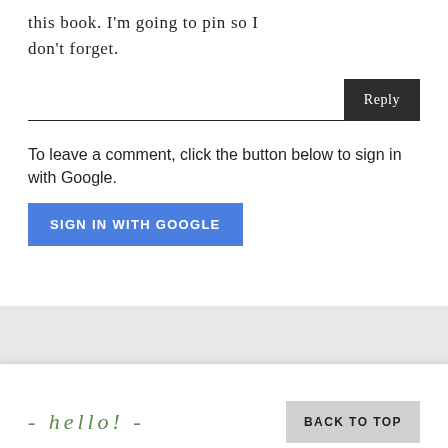this book. I'm going to pin so I don't forget.
[Figure (screenshot): Reply input field with a horizontal line and a dark 'Reply' button on the right]
To leave a comment, click the button below to sign in with Google.
[Figure (screenshot): Blue 'SIGN IN WITH GOOGLE' button]
- hello! -
BACK TO TOP